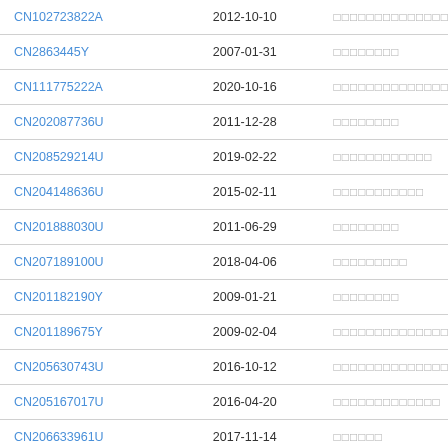| CN102723822A | 2012-10-10 | □□□□□□□□□□□□□□ |
| CN2863445Y | 2007-01-31 | □□□□□□□□ |
| CN111775222A | 2020-10-16 | □□□□□□□□□□□□□□□□□□ |
| CN202087736U | 2011-12-28 | □□□□□□□□ |
| CN208529214U | 2019-02-22 | □□□□□□□□□□□□ |
| CN204148636U | 2015-02-11 | □□□□□□□□□□□ |
| CN201888030U | 2011-06-29 | □□□□□□□□ |
| CN207189100U | 2018-04-06 | □□□□□□□□□ |
| CN201182190Y | 2009-01-21 | □□□□□□□□ |
| CN201189675Y | 2009-02-04 | □□□□□□□□□□□□□□□ |
| CN205630743U | 2016-10-12 | □□□□□□□□□□□□□□ |
| CN205167017U | 2016-04-20 | □□□□□□□□□□□□□ |
| CN206633961U | 2017-11-14 | □□□□□□ |